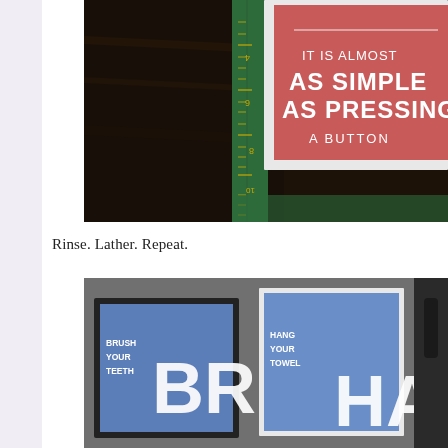[Figure (photo): Photo of a craft cutting mat with a green ruler and a salmon/coral colored card that reads 'IT IS ALMOST AS SIMPLE AS PRESSING A BUTTON' in white text, on a dark wooden surface.]
Rinse. Lather. Repeat.
[Figure (photo): Photo of two framed blue prints on a grey surface: one reads 'BRUSH YOUR TEETH' with large 'BR' letters, another reads 'HANG YOUR TOWEL' with large 'HA' letters, and a hand is partially visible.]